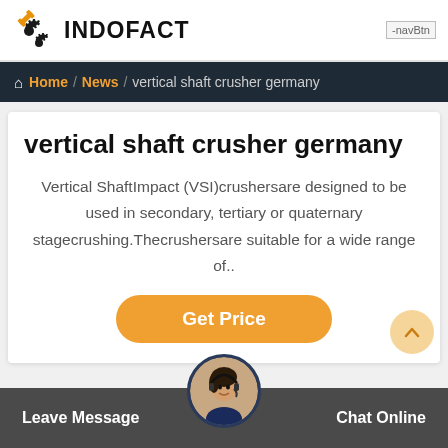[Figure (logo): Indofact logo with gear and wrench icon and bold INDOFACT text]
navBtn
Home / News / vertical shaft crusher germany
vertical shaft crusher germany
Vertical ShaftImpact (VSI)crushersare designed to be used in secondary, tertiary or quaternary stagecrushing.Thecrushersare suitable for a wide range of..
Get Price
Leave Message   Chat Online